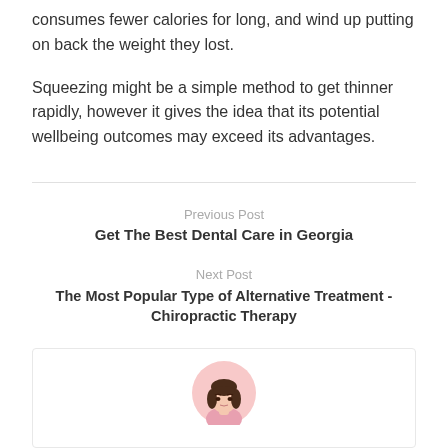consumes fewer calories for long, and wind up putting on back the weight they lost.
Squeezing might be a simple method to get thinner rapidly, however it gives the idea that its potential wellbeing outcomes may exceed its advantages.
Previous Post
Get The Best Dental Care in Georgia
Next Post
The Most Popular Type of Alternative Treatment - Chiropractic Therapy
[Figure (illustration): Author avatar illustration: a woman with dark brown hair, pink circular background, partially visible at bottom of page]